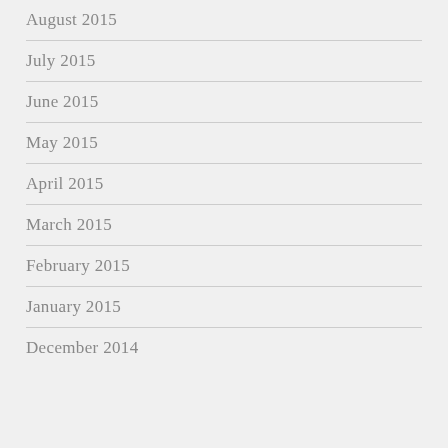August 2015
July 2015
June 2015
May 2015
April 2015
March 2015
February 2015
January 2015
December 2014